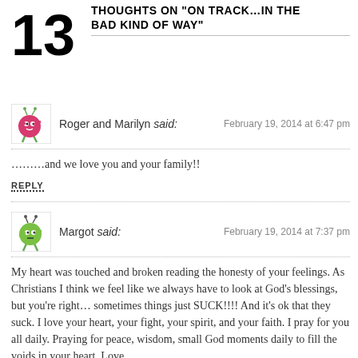THOUGHTS ON "ON TRACK…IN THE BAD KIND OF WAY"
Roger and Marilyn said:
February 19, 2014 at 6:47 pm
………and we love you and your family!!
REPLY
Margot said:
February 19, 2014 at 7:37 pm
My heart was touched and broken reading the honesty of your feelings. As Christians I think we feel like we always have to look at God's blessings, but you're right… sometimes things just SUCK!!!! And it's ok that they suck. I love your heart, your fight, your spirit, and your faith. I pray for you all daily. Praying for peace, wisdom, small God moments daily to fill the voids in your heart. Love,